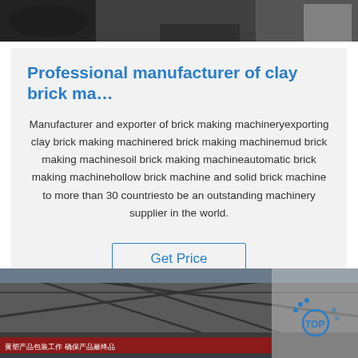[Figure (photo): Top portion of a photo showing industrial machinery or equipment in a factory/warehouse setting, partially cropped at top of page.]
Professional manufacturer of clay brick ma…
Manufacturer and exporter of brick making machineryexporting clay brick making machinered brick making machinemud brick making machinesoil brick making machineautomatic brick making machinehollow brick machine and solid brick machine to more than 30 countriesto be an outstanding machinery supplier in the world.
Get Price
[Figure (photo): Bottom photo showing interior of a large industrial factory or warehouse with steel roof structure, with Chinese text banner visible and a blue logo in the lower right corner.]